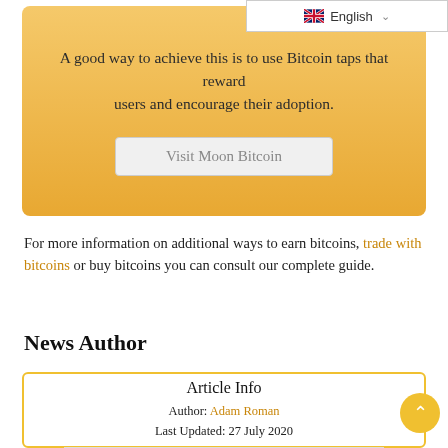English
A good way to achieve this is to use Bitcoin taps that reward users and encourage their adoption.
[Figure (other): Button labeled 'Visit Moon Bitcoin' inside orange/gold gradient box]
For more information on additional ways to earn bitcoins, trade with bitcoins or buy bitcoins you can consult our complete guide.
News Author
Article Info
Author: Adam Roman
Last Updated: 27 July 2020